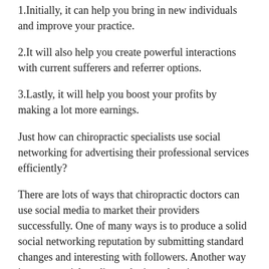1.Initially, it can help you bring in new individuals and improve your practice.
2.It will also help you create powerful interactions with current sufferers and referrer options.
3.Lastly, it will help you boost your profits by making a lot more earnings.
Just how can chiropractic specialists use social networking for advertising their professional services efficiently?
There are lots of ways that chiropractic doctors can use social media to market their providers successfully. One of many ways is to produce a solid social networking reputation by submitting standard changes and interesting with followers. Another way is to use social media marketing advertisements to target potential sufferers in the area.
You can use social media to bring in about...